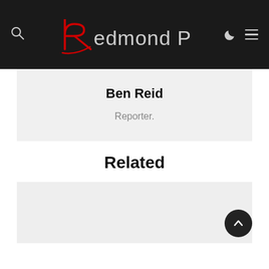Redmond Pie
Ben Reid
Reporter.
Related
[Figure (other): Light gray placeholder image area for a related article]